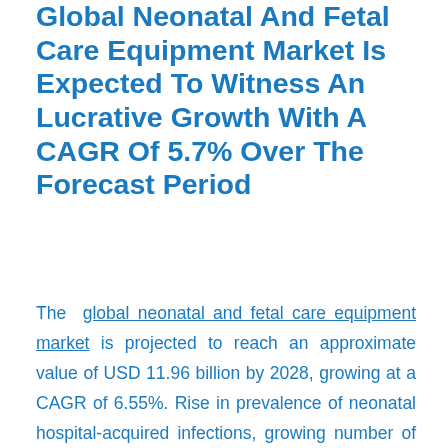Global Neonatal And Fetal Care Equipment Market Is Expected To Witness An Lucrative Growth With A CAGR Of 5.7% Over The Forecast Period
The global neonatal and fetal care equipment market is projected to reach an approximate value of USD 11.96 billion by 2028, growing at a CAGR of 6.55%. Rise in prevalence of neonatal hospital-acquired infections, growing number of neonatal care facilities worldwide coupled with high incidences of preterm births across the globe are factors driving the neonatal and fetal care equipment market.